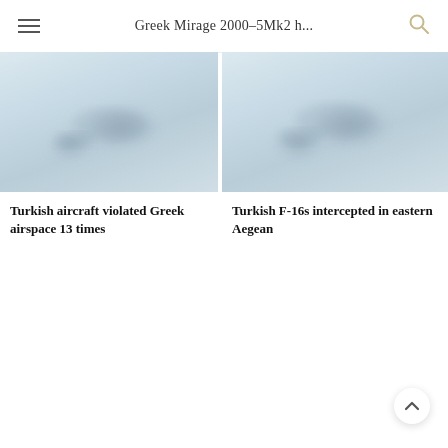Greek Mirage 2000–5Mk2 h...
[Figure (photo): Blurred/hazy photograph of a military aircraft in flight against a light blue-grey sky]
Turkish aircraft violated Greek airspace 13 times
[Figure (photo): Blurred/hazy photograph of a military aircraft in flight against a light blue-grey sky]
Turkish F‑16s intercepted in eastern Aegean